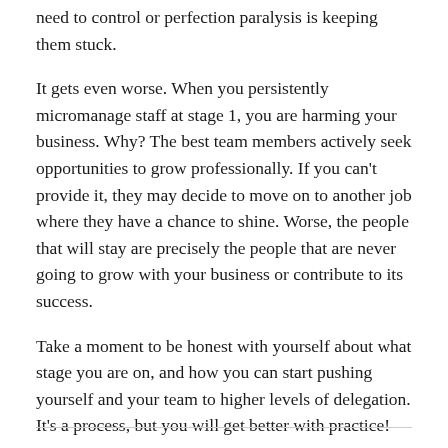need to control or perfection paralysis is keeping them stuck.
It gets even worse. When you persistently micromanage staff at stage 1, you are harming your business. Why? The best team members actively seek opportunities to grow professionally. If you can't provide it, they may decide to move on to another job where they have a chance to shine. Worse, the people that will stay are precisely the people that are never going to grow with your business or contribute to its success.
Take a moment to be honest with yourself about what stage you are on, and how you can start pushing yourself and your team to higher levels of delegation. It's a process, but you will get better with practice!
Want to learn more about how to go from Solo2CEO? Learn more about my course here.